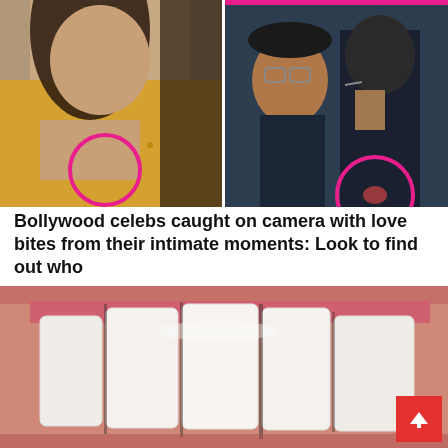[Figure (photo): Two-photo collage: left side shows a young woman in a yellow top with a pink circle highlighting her shoulder/chest area; right side shows two men, one facing away with a pink circle highlighting a mark on his neck/back]
Bollywood celebs caught on camera with love bites from their intimate moments: Look to find out who
[Figure (photo): Close-up photograph of a human mouth showing white teeth from the front, lips parted wide]